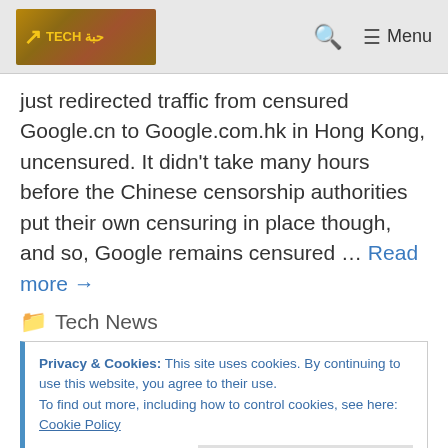Tech حبة logo, search icon, Menu
just redirected traffic from censured Google.cn to Google.com.hk in Hong Kong, uncensured. It didn't take many hours before the Chinese censorship authorities put their own censuring in place though, and so, Google remains censured … Read more →
Tech News
Privacy & Cookies: This site uses cookies. By continuing to use this website, you agree to their use.
To find out more, including how to control cookies, see here: Cookie Policy
Close and accept
Also Censured
Privacy · Terms